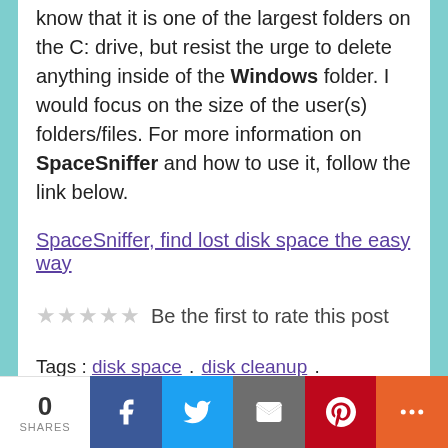know that it is one of the largest folders on the C: drive, but resist the urge to delete anything inside of the Windows folder. I would focus on the size of the user(s) folders/files. For more information on SpaceSniffer and how to use it, follow the link below.
SpaceSniffer, find lost disk space the easy way
Be the first to rate this post
Tags : disk space . disk cleanup . hibernation . graphic visualization tool . computer repair . windows 7 . windows 8 . windows 8.1 . windows 10
0 SHARES | Facebook | Twitter | Email | Pinterest | More